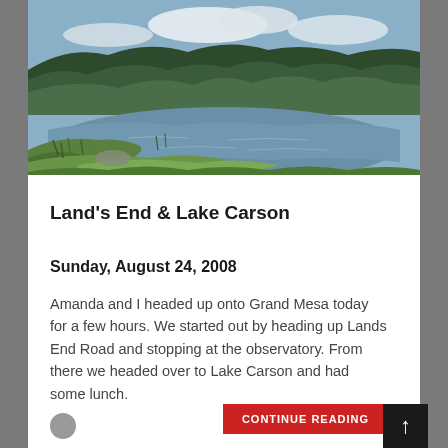[Figure (photo): Landscape photo of a mountain lake with green grassy shores in the foreground and forested hills in the background under a partly cloudy sky.]
Land's End & Lake Carson
Sunday, August 24, 2008
Amanda and I headed up onto Grand Mesa today for a few hours. We started out by heading up Lands End Road and stopping at the observatory. From there we headed over to Lake Carson and had some lunch.
CONTINUE READING